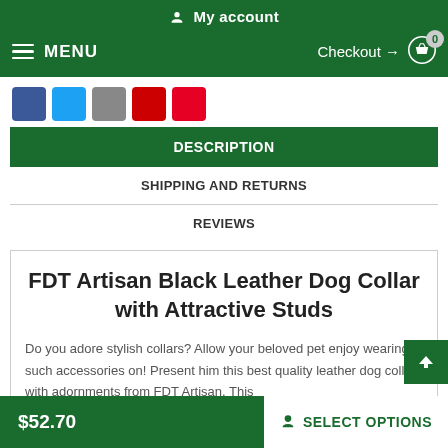My account
MENU  Checkout → 0
[Figure (other): Social sharing buttons: Facebook, Twitter, Google+, YouTube, Pinterest]
DESCRIPTION
SHIPPING AND RETURNS
REVIEWS
FDT Artisan Black Leather Dog Collar with Attractive Studs
Do you adore stylish collars? Allow your beloved pet enjoy wearing such accessories on! Present him this best quality leather dog collar with adornments from FDT Artisan. This
$52.70  SELECT OPTIONS